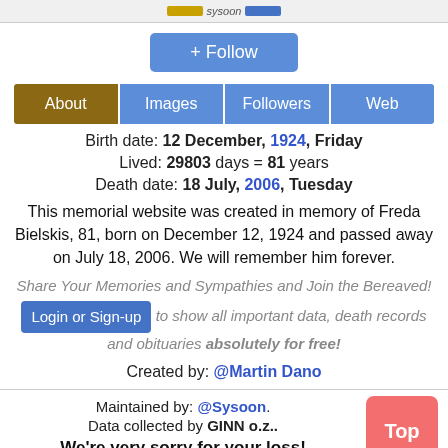[Figure (logo): Sysoon logo banner with gold and blue bars and sysoon text]
+ Follow
About  Images  Followers  Web
Birth date: 12 December, 1924, Friday
Lived: 29803 days = 81 years
Death date: 18 July, 2006, Tuesday
This memorial website was created in memory of Freda Bielskis, 81, born on December 12, 1924 and passed away on July 18, 2006. We will remember him forever.
Share Your Memories and Sympathies and Join the Bereaved!
Login or Sign-up to show all important data, death records and obituaries absolutely for free!
Created by: @Martin Dano
Maintained by: @Sysoon.
Data collected by GINN o.z..
We're very sorry for your loss!